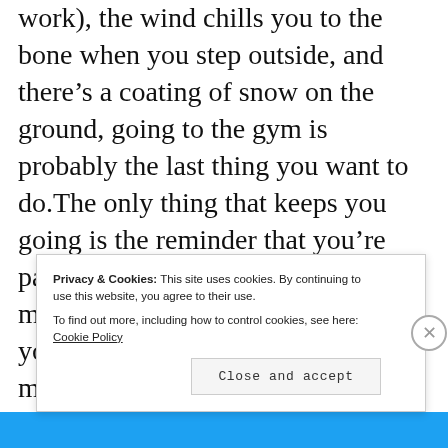work), the wind chills you to the bone when you step outside, and there's a coating of snow on the ground, going to the gym is probably the last thing you want to do.The only thing that keeps you going is the reminder that you're paying a lot of money for your membership, and if you don't go you're basically just throwing that money away. Even then, it's a struggle. You count yourself lucky if
Privacy & Cookies: This site uses cookies. By continuing to use this website, you agree to their use.
To find out more, including how to control cookies, see here: Cookie Policy
Close and accept